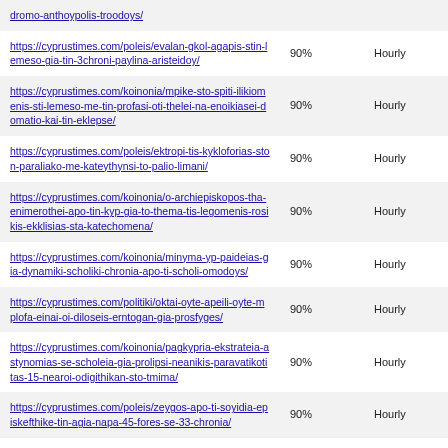| URL | Priority | Change Frequency |
| --- | --- | --- |
| dromo-anthoypolis-troodoys/ | 90% | Hourly |
| https://cyprustimes.com/poleis/evalan-gkol-agapis-stin-lemeso-gia-tin-3chroni-paylina-aristeidoy/ | 90% | Hourly |
| https://cyprustimes.com/koinonia/mpike-sto-spiti-ilikiomenis-sti-lemeso-me-tin-profasi-oti-thelei-na-enoikiasei-domatio-kai-tin-eklepse/ | 90% | Hourly |
| https://cyprustimes.com/poleis/ektropi-tis-kykloforias-ston-paraliako-me-kateythynsi-to-palio-limani/ | 90% | Hourly |
| https://cyprustimes.com/koinonia/o-archiepiskopos-tha-enimerothei-apo-tin-kyp-gia-to-thema-tis-legomenis-rosikis-ekklisias-sta-katechomena/ | 90% | Hourly |
| https://cyprustimes.com/koinonia/minyma-yp-paideias-gia-dynamiki-scholiki-chronia-apo-ti-scholi-omodoys/ | 90% | Hourly |
| https://cyprustimes.com/politiki/oktai-oyte-apeili-oyte-mplofa-einai-oi-diloseis-erntogan-gia-prosfyges/ | 90% | Hourly |
| https://cyprustimes.com/koinonia/pagkypria-ekstrateia-astynomias-se-scholeia-gia-prolipsi-neanikis-paravatikotitas-15-nearoi-odigithikan-sto-tmima/ | 90% | Hourly |
| https://cyprustimes.com/poleis/zeygos-apo-ti-soyidia-episkefthike-tin-agia-napa-45-fores-se-33-chronia/ | 90% | Hourly |
| https://cyprustimes.com/koinonia/sto-ypoyrgeio-me-ton-patera-tis-exefrase-parapono-i-mathitria-meta-to-symvan-me-tin-mantila-tis/ | 90% | Hourly |
| https://cyprustimes.com/intimes/to-dikastirio-dikaiose-ton-kokora-moris-poy-mporei-na-lalei-oti-ora-thelei-video/ | 90% | Hourly |
| https://cyprustimes.com/koinonia/o-dieythyntis-toy-lykeioy-ap-yarnaya-sti-ct-gia-ti-mathitria-me-mantila-den- | 90% | Hourly |